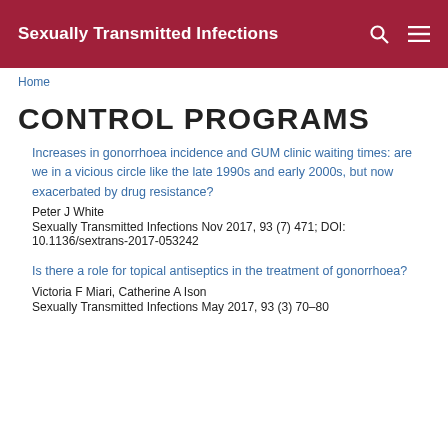Sexually Transmitted Infections
Home
CONTROL PROGRAMS
Increases in gonorrhoea incidence and GUM clinic waiting times: are we in a vicious circle like the late 1990s and early 2000s, but now exacerbated by drug resistance?
Peter J White
Sexually Transmitted Infections Nov 2017, 93 (7) 471; DOI: 10.1136/sextrans-2017-053242
Is there a role for topical antiseptics in the treatment of gonorrhoea?
Victoria F Miari, Catherine A Ison
Sexually Transmitted Infections May 2017, 93 (3) 70-80